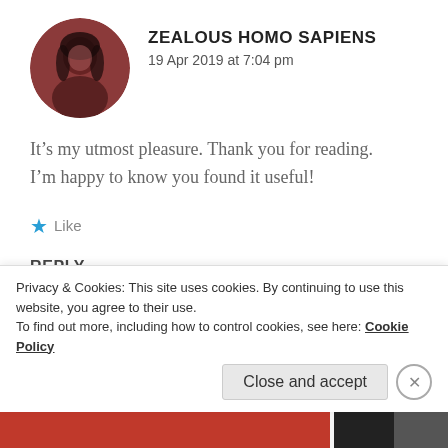[Figure (photo): Circular avatar of a person with dark hair against a reddish-brown background]
ZEALOUS HOMO SAPIENS
19 Apr 2019 at 7:04 pm
It’s my utmost pleasure. Thank you for reading. I’m happy to know you found it useful!
★ Like
REPLY
[Figure (photo): Circular avatar of next commenter, partially visible]
HEALTHHOTSPOTS
Privacy & Cookies: This site uses cookies. By continuing to use this website, you agree to their use.
To find out more, including how to control cookies, see here: Cookie Policy
Close and accept